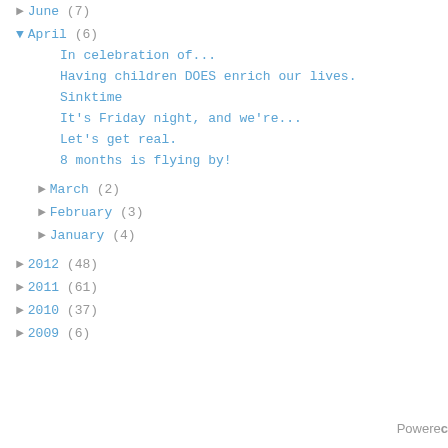► June (7)
▼ April (6)
In celebration of...
Having children DOES enrich our lives.
Sinktime
It's Friday night, and we're...
Let's get real.
8 months is flying by!
► March (2)
► February (3)
► January (4)
► 2012 (48)
► 2011 (61)
► 2010 (37)
► 2009 (6)
Powered